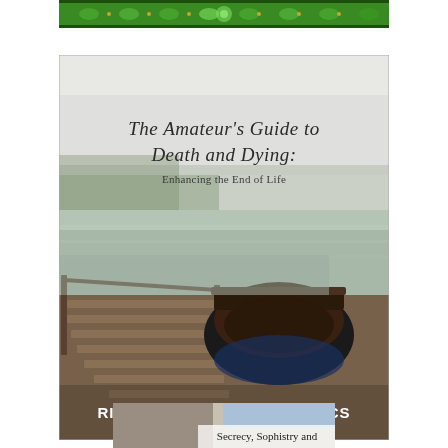[Figure (illustration): Decorative green ornamental banner with floral/Celtic patterns at top of page]
[Figure (photo): Book cover for 'The Amateur's Guide to Death and Dying: Enhancing the End of Life' by Richard Wagner, Ph.D., ACS. Cover shows a wooden dock with a moored wooden boat on a misty lake with forested hills in background. Title text in cursive script at top, author name in bold white text at bottom.]
[Figure (photo): Partial view of another book cover at bottom of page, showing text 'Secrecy, Sophistry and' over an architectural/stone background]